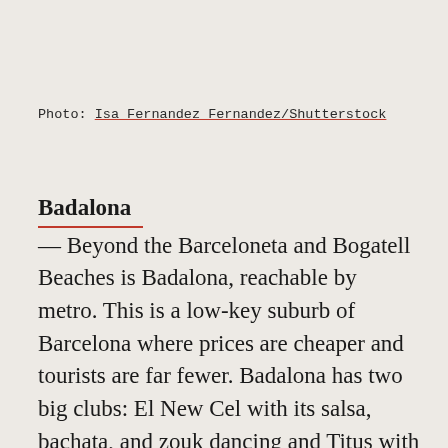Photo: Isa Fernandez Fernandez/Shutterstock
Badalona — Beyond the Barceloneta and Bogatell Beaches is Badalona, reachable by metro. This is a low-key suburb of Barcelona where prices are cheaper and tourists are far fewer. Badalona has two big clubs: El New Cel with its salsa, bachata, and zouk dancing and Titus with its showier vibe where dudes go to flex their muscles and girls wear sky-high heels. Don't bother staying at the beach until these dance spots open up as it will have been dark for hours. Instead, consider a sunrise beach walk